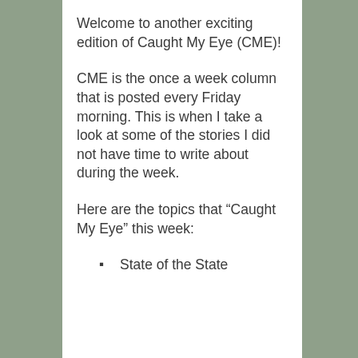Welcome to another exciting edition of Caught My Eye (CME)!
CME is the once a week column that is posted every Friday morning. This is when I take a look at some of the stories I did not have time to write about during the week.
Here are the topics that “Caught My Eye” this week:
State of the State